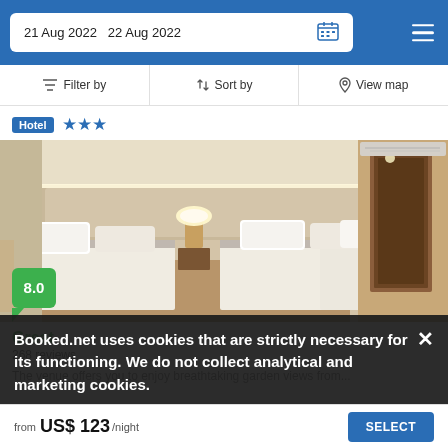21 Aug 2022  22 Aug 2022
Filter by  Sort by  View map
Hotel ★★★
[Figure (photo): Hotel room with two large beds with white linens and gray accent strips, beige upholstered headboard, bedside lamps, and a hallway door visible on the right. Score badge: 8.0]
Great
268 reviews
The venue offers you to enjoy breathtaking garden views from...
Booked.net uses cookies that are strictly necessary for its functioning. We do not collect analytical and marketing cookies.
from  US$ 123 /night  SELECT